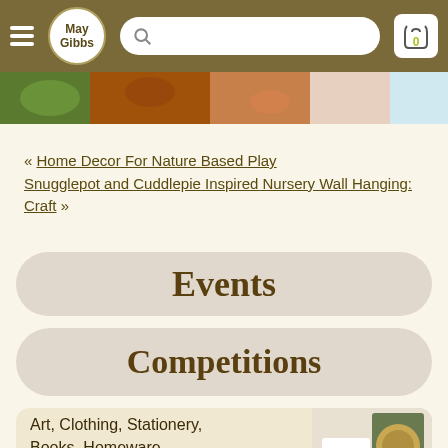May Gibbs navigation bar with hamburger menu, logo, search bar, and cart
[Figure (photo): Partial hero image strip showing colourful decorative content]
« Home Decor For Nature Based Play Snugglepot and Cuddlepie Inspired Nursery Wall Hanging: Craft »
Events
Competitions
Art, Clothing, Stationery, Books, Homeware, Toys & Gifts